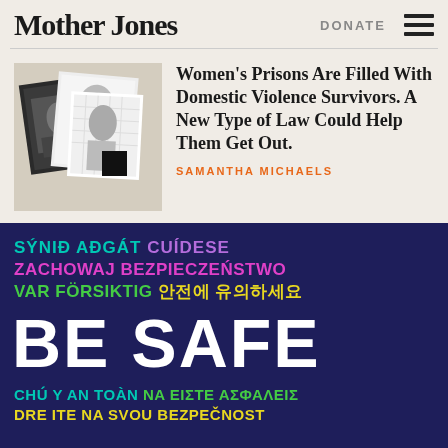Mother Jones | DONATE
[Figure (photo): Collage of black and white photographs of women, arranged overlapping on a beige background]
Women's Prisons Are Filled With Domestic Violence Survivors. A New Type of Law Could Help Them Get Out.
SAMANTHA MICHAELS
[Figure (infographic): Dark navy blue background with multilingual safety phrases in various bright colors: 'SÝNIÐ AÐGÁT' (teal), 'CUÍDESE' (purple), 'ZACHOWAJ BEZPIECZEŃSTWO' (pink/magenta), 'VAR FÖRSIKTIG' (green), '안전에 유의하세요' (yellow), 'BE SAFE' (white, large), 'CHÚ Ý AN TOÀN' (teal), 'NA EIΣTE AΣΦΑΛΕΙΣ' (green), 'DRE ITE NA SVOU BEZPEČNOST' (yellow)]